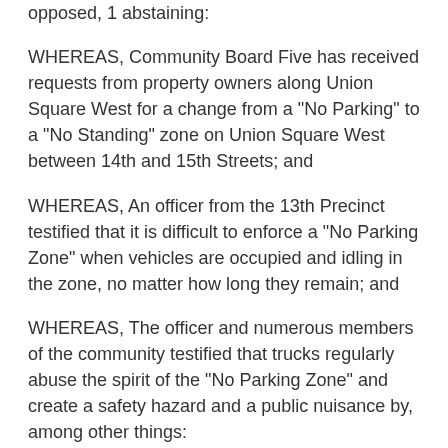opposed, 1 abstaining:
WHEREAS, Community Board Five has received requests from property owners along Union Square West for a change from a "No Parking" to a "No Standing" zone on Union Square West between 14th and 15th Streets; and
WHEREAS, An officer from the 13th Precinct testified that it is difficult to enforce a "No Parking Zone" when vehicles are occupied and idling in the zone, no matter how long they remain; and
WHEREAS, The officer and numerous members of the community testified that trucks regularly abuse the spirit of the "No Parking Zone" and create a safety hazard and a public nuisance by, among other things:
Remaining stationary and occupied in the zone